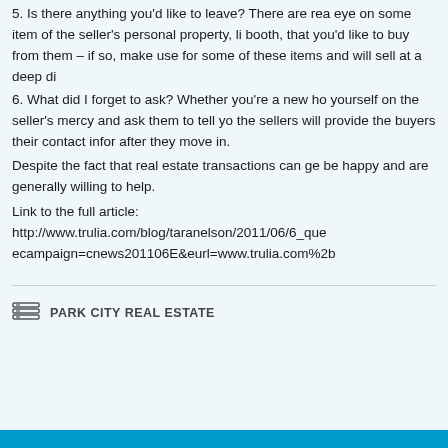5. Is there anything you'd like to leave? There are rea eye on some item of the seller's personal property, li booth, that you'd like to buy from them – if so, make use for some of these items and will sell at a deep di
6. What did I forget to ask? Whether you're a new ho yourself on the seller's mercy and ask them to tell yo the sellers will provide the buyers their contact infor after they move in.
Despite the fact that real estate transactions can ge be happy and are generally willing to help.
Link to the full article: http://www.trulia.com/blog/taranelson/2011/06/6_que ecampaign=cnews201106E&eurl=www.trulia.com%2b
PARK CITY REAL ESTATE